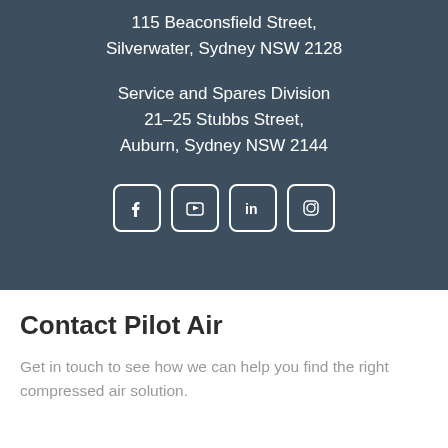115 Beaconsfield Street,
Silverwater, Sydney NSW 2128
Service and Spares Division
21–25 Stubbs Street,
Auburn, Sydney NSW 2144
[Figure (infographic): Four social media icons: Facebook, YouTube, LinkedIn, Instagram — white outlined rounded-square icons on dark background]
Contact Pilot Air
Get in touch to see how we can help you find the right compressed air solution.